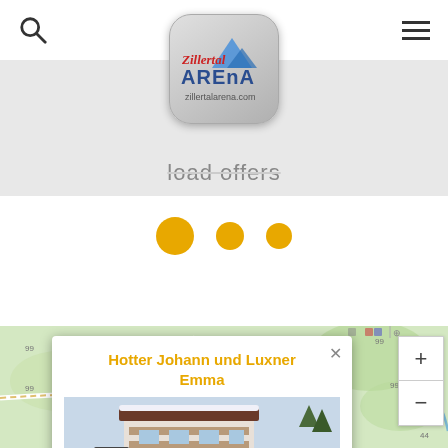[Figure (logo): Zillertal Arena logo with mountain graphic and text zillertalarena.com]
load offers
[Figure (infographic): Three orange dots indicating loading/pagination state]
[Figure (map): Map view showing terrain and roads including L300]
Hotter Johann und Luxner Emma
[Figure (photo): Photo of a snow-covered alpine guest house or hotel building]